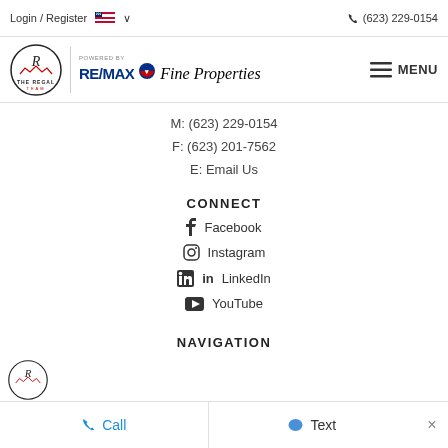Login / Register  🇺🇸 ∨    📞 (623) 229-0154
[Figure (logo): The Regal Team logo with RE/MAX Fine Properties branding]
M: (623) 229-0154
F: (623) 201-7562
E: Email Us
CONNECT
Facebook
Instagram
LinkedIn
YouTube
NAVIGATION
📞 Call    💬 Text    ×